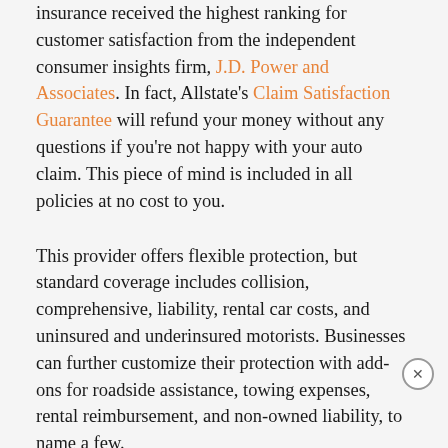insurance received the highest ranking for customer satisfaction from the independent consumer insights firm, J.D. Power and Associates. In fact, Allstate's Claim Satisfaction Guarantee will refund your money without any questions if you're not happy with your auto claim. This piece of mind is included in all policies at no cost to you.
This provider offers flexible protection, but standard coverage includes collision, comprehensive, liability, rental car costs, and uninsured and underinsured motorists. Businesses can further customize their protection with add-ons for roadside assistance, towing expenses, rental reimbursement, and non-owned liability, to name a few.
Allstate insures a wide variety of commercial automobiles, including refrigerated box trucks, glass trucks, utility vans, and more. You can request a quote online or through